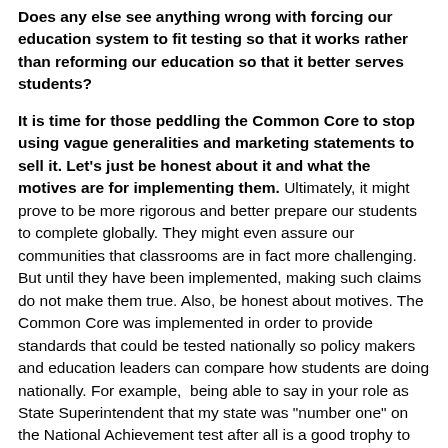Does any else see anything wrong with forcing our education system to fit testing so that it works rather than reforming our education so that it better serves students?
It is time for those peddling the Common Core to stop using vague generalities and marketing statements to sell it. Let's just be honest about it and what the motives are for implementing them. Ultimately, it might prove to be more rigorous and better prepare our students to complete globally. They might even assure our communities that classrooms are in fact more challenging. But until they have been implemented, making such claims do not make them true. Also, be honest about motives. The Common Core was implemented in order to provide standards that could be tested nationally so policy makers and education leaders can compare how students are doing nationally. For example,  being able to say in your role as State Superintendent that my state was "number one" on the National Achievement test after all is a good trophy to have. Then of course, there's the commercial bonanza to boot where all manner of companies can now make a bundle too.